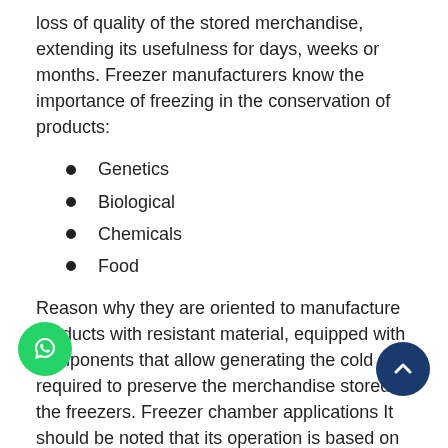loss of quality of the stored merchandise, extending its usefulness for days, weeks or months. Freezer manufacturers know the importance of freezing in the conservation of products:
Genetics
Biological
Chemicals
Food
Reason why they are oriented to manufacture products with resistant material, equipped with components that allow generating the cold required to preserve the merchandise stored in the freezers. Freezer chamber applications It should be noted that its operation is based on the type of product that is going to be stored inside, since not all elements require the same level of temperature to preserve their properties. Freezing chambers are effective for: